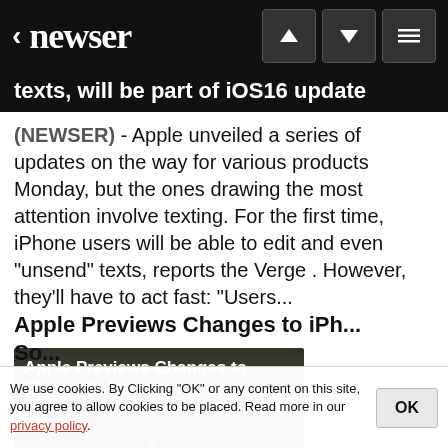< newser
texts, will be part of iOS16 update
(NEWSER) - Apple unveiled a series of updates on the way for various products Monday, but the ones drawing the most attention involve texting. For the first time, iPhone users will be able to edit and even "unsend" texts, reports the Verge . However, they'll have to act fast: "Users...
[Figure (photo): Photo of a crowd outdoors at an Apple event, with a person in foreground taking a selfie. Overlay text: 'Apple Previews Changes to iPhone Software' and date 'Jun 6, 2022  5:11 PM CDT']
We use cookies. By Clicking "OK" or any content on this site, you agree to allow cookies to be placed. Read more in our privacy policy.
Apple Previews Changes to iPh... So...